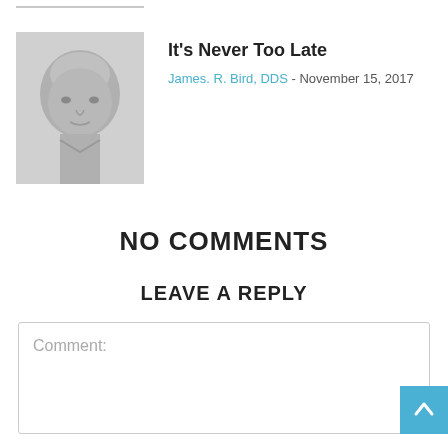[Figure (photo): Partial cropped photo of a person visible at the top edge of the page]
[Figure (photo): Black and white headshot of an older bald man, James R. Bird DDS]
It's Never Too Late
James. R. Bird, DDS - November 15, 2017
NO COMMENTS
LEAVE A REPLY
Comment: